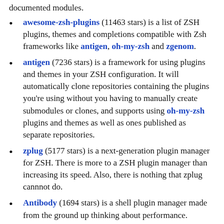documented modules.
awesome-zsh-plugins (11463 stars) is a list of ZSH plugins, themes and completions compatible with Zsh frameworks like antigen, oh-my-zsh and zgenom.
antigen (7236 stars) is a framework for using plugins and themes in your ZSH configuration. It will automatically clone repositories containing the plugins you're using without you having to manually create submodules or clones, and supports using oh-my-zsh plugins and themes as well as ones published as separate repositories.
zplug (5177 stars) is a next-generation plugin manager for ZSH. There is more to a ZSH plugin manager than increasing its speed. Also, there is nothing that zplug cannnot do.
Antibody (1694 stars) is a shell plugin manager made from the ground up thinking about performance.